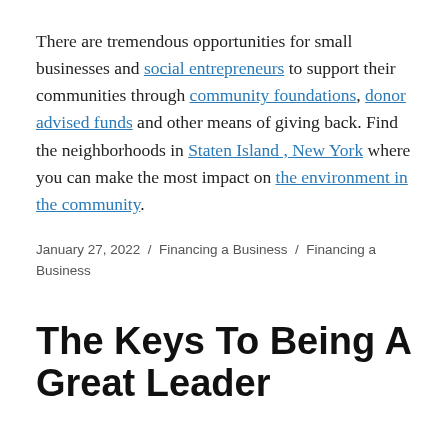There are tremendous opportunities for small businesses and social entrepreneurs to support their communities through community foundations, donor advised funds and other means of giving back. Find the neighborhoods in Staten Island , New York where you can make the most impact on the environment in the community.
January 27, 2022 / Financing a Business / Financing a Business
The Keys To Being A Great Leader